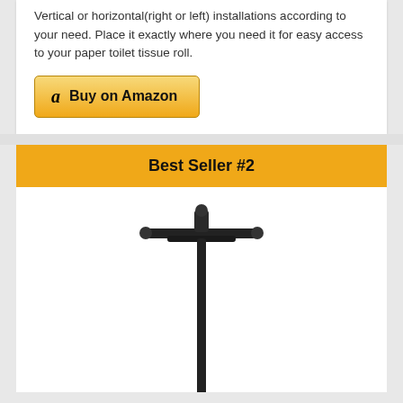Vertical or horizontal(right or left) installations according to your need. Place it exactly where you need it for easy access to your paper toilet tissue roll.
[Figure (other): Buy on Amazon button with Amazon logo]
Best Seller #2
[Figure (photo): Black floor-standing toilet paper holder with T-bar top and tall narrow pole]